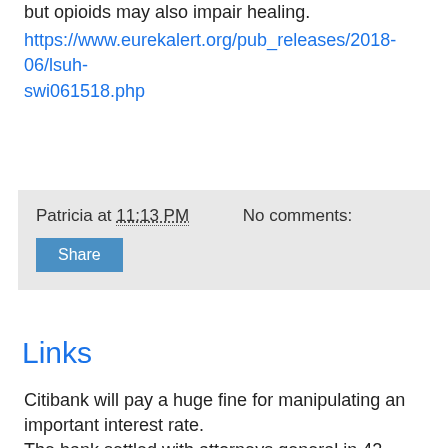but opioids may also impair healing.
https://www.eurekalert.org/pub_releases/2018-06/lsuh-swi061518.php
Patricia at 11:13 PM   No comments:
Share
Links
Citibank will pay a huge fine for manipulating an important interest rate.
The bank settled with attorneys general in 42 states for $100 million. Following an investigation, the states said Citibank manipulated Libor, a benchmark interest rate that helps set lending rates across the world.
Citibank made millions of dollars of gains from its "fraudulent